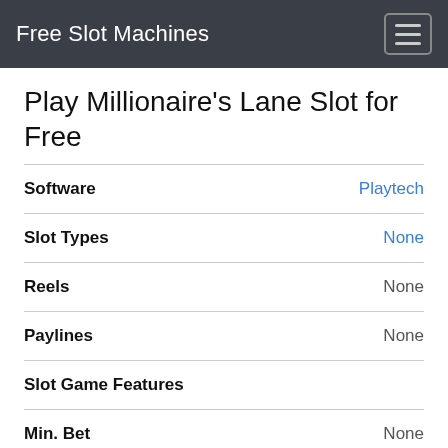Free Slot Machines
Play Millionaire's Lane Slot for Free
| Field | Value |
| --- | --- |
| Software | Playtech |
| Slot Types | None |
| Reels | None |
| Paylines | None |
| Slot Game Features |  |
| Min. Bet | None |
| Max. Bet | None |